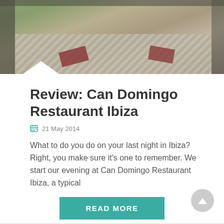[Figure (photo): Restaurant dining table set with plates, napkins, and glassware near a window with garden view]
Review: Can Domingo Restaurant Ibiza
21 May 2014
What to do you do on your last night in Ibiza? Right, you make sure it's one to remember. We start our evening at Can Domingo Restaurant Ibiza, a typical
READ MORE